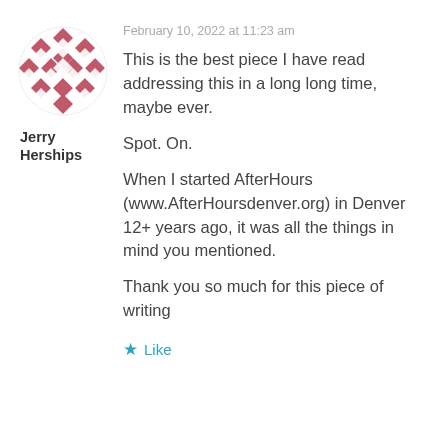[Figure (illustration): Pink/mauve diamond-pattern geometric avatar logo — a circular design made of overlapping diamond/rhombus shapes in pink and white forming a decorative grid pattern]
Jerry Herships
February 10, 2022 at 11:23 am
This is the best piece I have read addressing this in a long long time, maybe ever.

Spot. On.

When I started AfterHours (www.AfterHoursdenver.org) in Denver 12+ years ago, it was all the things in mind you mentioned.

Thank you so much for this piece of writing
Like